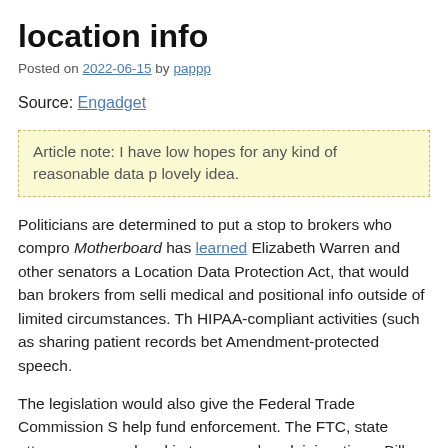location info
Posted on 2022-06-15 by pappp
Source: Engadget
Article note: I have low hopes for any kind of reasonable data p lovely idea.
Politicians are determined to put a stop to brokers who compro Motherboard has learned Elizabeth Warren and other senators a Location Data Protection Act, that would ban brokers from selli medical and positional info outside of limited circumstances. Th HIPAA-compliant activities (such as sharing patient records bet Amendment-protected speech.
The legislation would also give the Federal Trade Commission S help fund enforcement. The FTC, state attorneys general and in to sue and seek injunctions. Bill cosponsors include longtime da well as Bernie Sanders, finance committee chair Patty Murray a